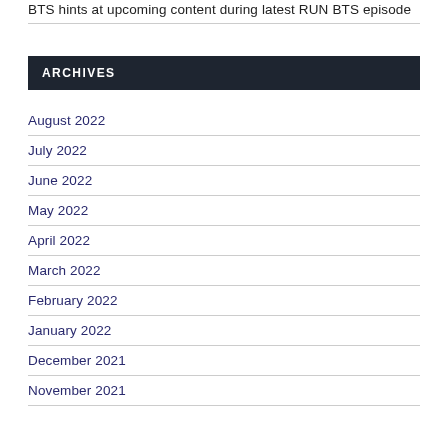BTS hints at upcoming content during latest RUN BTS episode
ARCHIVES
August 2022
July 2022
June 2022
May 2022
April 2022
March 2022
February 2022
January 2022
December 2021
November 2021